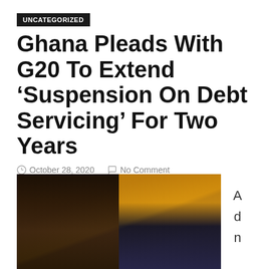UNCATEGORIZED
Ghana Pleads With G20 To Extend ‘Suspension On Debt Servicing’ For Two Years
October 28, 2020   No Comment
[Figure (photo): Two men in a split photo; left side shows an older Black man at a formal setting, right side shows a younger Black man in a blue shirt smiling. Sidebar text reads 'A d n'.]